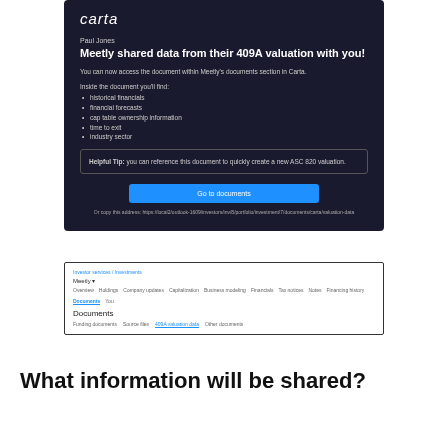[Figure (screenshot): Email notification from Carta to Paul Jones saying Meetly shared data from their 409A valuation, with bullet list of contents and a Go to documents button.]
[Figure (screenshot): Carta UI showing Documents section for Meetly with navigation tabs including Overview, Holdings, Company updates, Capitalization, Business modeling, Financials, Tax notices, Notes, Financing history, Documents, and 409A valuation data tab active.]
What information will be shared?